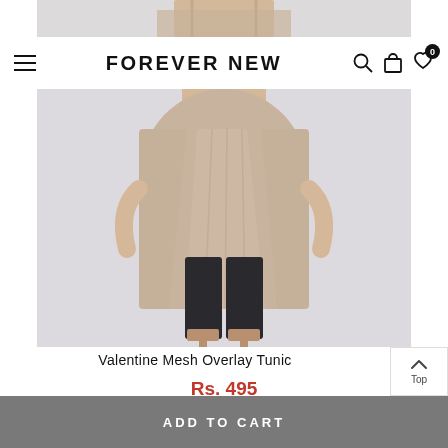[Figure (screenshot): Forever New e-commerce website screenshot showing a product page for Valentine Mesh Overlay Tunic. The page shows a navigation bar with hamburger menu, FOREVER NEW logo, search, bag and wishlist icons. The main content shows a model wearing a beige/taupe mesh overlay tunic with black leggings and heeled sandals on a light grey background. Below the image is the product title 'Valentine Mesh Overlay Tunic', price 'Rs. 495', and an 'ADD TO CART' button in grey.]
FOREVER NEW
Valentine Mesh Overlay Tunic
Rs. 495
ADD TO CART